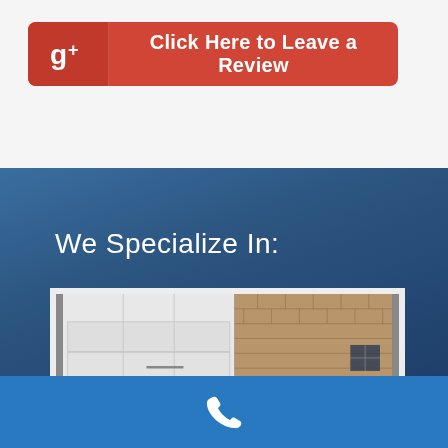[Figure (infographic): Google+ red button with g+ icon on left and text 'Click Here to Leave a Review']
We Specialize In:
[Figure (photo): Photo of a white garage door next to a brick building wall with a blue sky background]
[Figure (infographic): Blue footer bar with white phone/call icon]